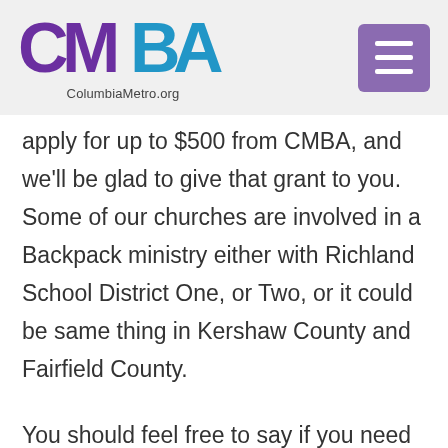ColumbiaMetro.org
apply for up to $500 from CMBA, and we'll be glad to give that grant to you. Some of our churches are involved in a Backpack ministry either with Richland School District One, or Two, or it could be same thing in Kershaw County and Fairfield County.
You should feel free to say if you need extra economic help in order to participate in hunger ministry from the funds that have been provided to us by